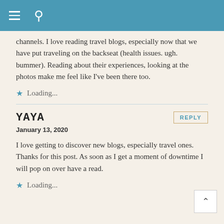≡ 🔍
channels. I love reading travel blogs, especially now that we have put traveling on the backseat (health issues. ugh. bummer). Reading about their experiences, looking at the photos make me feel like I've been there too.
★ Loading...
YAYA
January 13, 2020
I love getting to discover new blogs, especially travel ones. Thanks for this post. As soon as I get a moment of downtime I will pop on over have a read.
★ Loading...